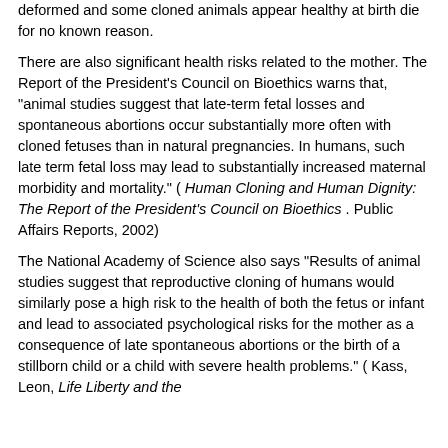deformed and some cloned animals appear healthy at birth die for no known reason.
There are also significant health risks related to the mother. The Report of the President's Council on Bioethics warns that, "animal studies suggest that late-term fetal losses and spontaneous abortions occur substantially more often with cloned fetuses than in natural pregnancies. In humans, such late term fetal loss may lead to substantially increased maternal morbidity and mortality." ( Human Cloning and Human Dignity: The Report of the President's Council on Bioethics . Public Affairs Reports, 2002)
The National Academy of Science also says "Results of animal studies suggest that reproductive cloning of humans would similarly pose a high risk to the health of both the fetus or infant and lead to associated psychological risks for the mother as a consequence of late spontaneous abortions or the birth of a stillborn child or a child with severe health problems." ( Kass, Leon, Life Liberty and the